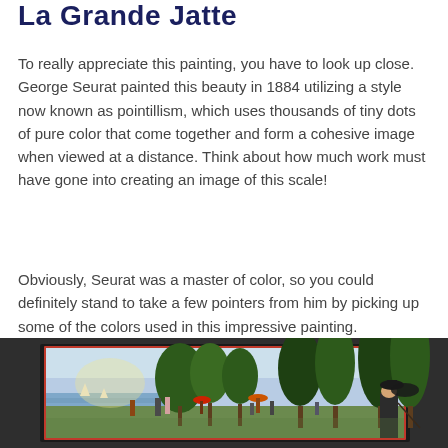La Grande Jatte
To really appreciate this painting, you have to look up close. George Seurat painted this beauty in 1884 utilizing a style now known as pointillism, which uses thousands of tiny dots of pure color that come together and form a cohesive image when viewed at a distance. Think about how much work must have gone into creating an image of this scale!
Obviously, Seurat was a master of color, so you could definitely stand to take a few pointers from him by picking up some of the colors used in this impressive painting.
[Figure (photo): Photograph of Georges Seurat's painting 'A Sunday on La Grande Jatte' displayed in a dark-bordered frame against a dark background. The painting shows people relaxing in a park by a river with trees, figures with parasols, and sailboats in the distance.]